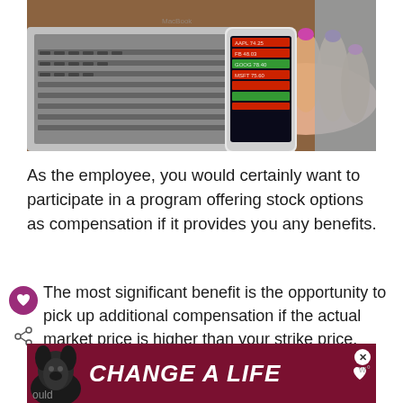[Figure (photo): Person holding a smartphone displaying stock trading app with red and green ticker data, with a laptop keyboard visible in the background on a wooden desk]
As the employee, you would certainly want to participate in a program offering stock options as compensation if it provides you any benefits.
The most significant benefit is the opportunity to pick up additional compensation if the actual market price is higher than your strike price.
[Figure (other): Advertisement banner with dark red background showing a dog and text 'CHANGE A LIFE']